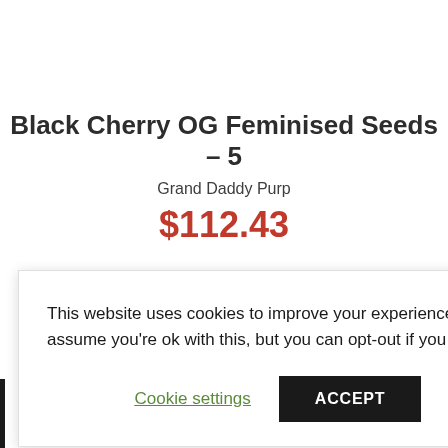Black Cherry OG Feminised Seeds – 5
Grand Daddy Purp
$112.43
This website uses cookies to improve your experience. We'll assume you're ok with this, but you can opt-out if you wish.
Cookie settings  ACCEPT
…rb communication and updates on my order and